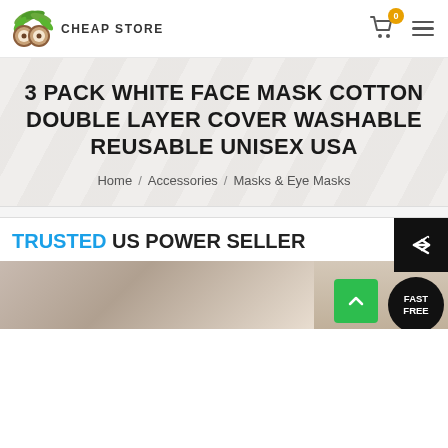CHEAP STORE
3 PACK WHITE FACE MASK COTTON DOUBLE LAYER COVER WASHABLE REUSABLE UNISEX USA
Home / Accessories / Masks & Eye Masks
TRUSTED US POWER SELLER
[Figure (photo): Person wearing white face mask, with FAST FREE circular badge overlay]